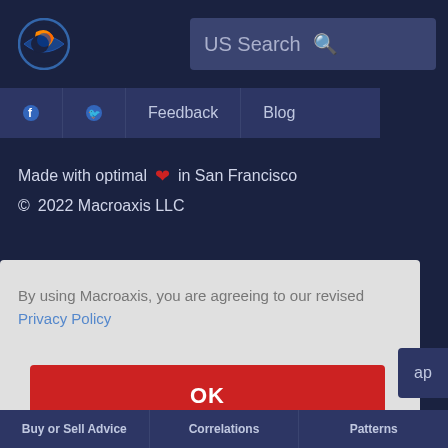[Figure (logo): Macroaxis globe logo with orange and blue colors]
US Search
Feedback  Blog
Made with optimal ❤ in San Francisco
© 2022 Macroaxis LLC
By using Macroaxis, you are agreeing to our revised Privacy Policy
OK
Buy or Sell Advice   Correlations   Patterns